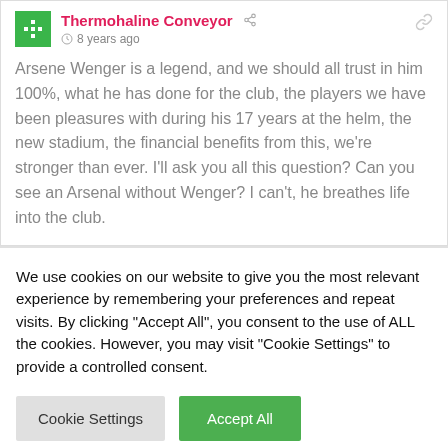Thermohaline Conveyor · 8 years ago
Arsene Wenger is a legend, and we should all trust in him 100%, what he has done for the club, the players we have been pleasures with during his 17 years at the helm, the new stadium, the financial benefits from this, we're stronger than ever. I'll ask you all this question? Can you see an Arsenal without Wenger? I can't, he breathes life into the club.
We use cookies on our website to give you the most relevant experience by remembering your preferences and repeat visits. By clicking "Accept All", you consent to the use of ALL the cookies. However, you may visit "Cookie Settings" to provide a controlled consent.